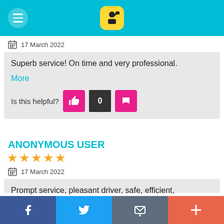[Figure (screenshot): App top navigation bar with hamburger menu, cyan/teal background, and yellow app icon with person silhouette]
17 March 2022
Superb service! On time and very professional.
More
Is this helpful?  0
ANONYMOUS USER
★★★★★
17 March 2022
Prompt service, pleasant driver, safe, efficient, comfortable ride
[Figure (screenshot): Bottom navigation bar with Facebook, Twitter, email/share, and plus buttons]